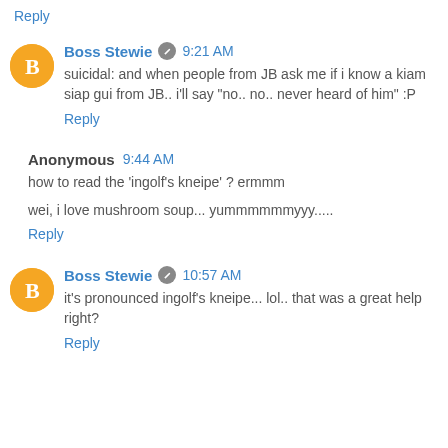Reply
Boss Stewie  9:21 AM
suicidal: and when people from JB ask me if i know a kiam siap gui from JB.. i'll say "no.. no.. never heard of him" :P
Reply
Anonymous  9:44 AM
how to read the 'ingolf's kneipe' ? ermmm
wei, i love mushroom soup... yummmmmmyyy.....
Reply
Boss Stewie  10:57 AM
it's pronounced ingolf's kneipe... lol.. that was a great help right?
Reply